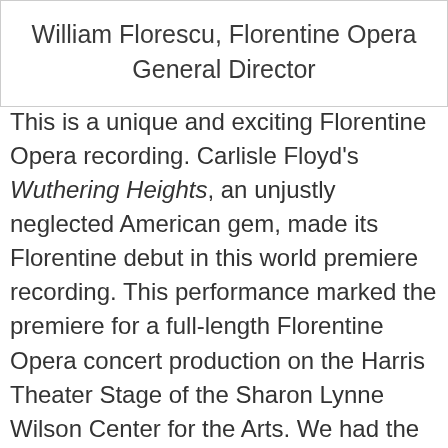| William Florescu, Florentine Opera General Director |
This is a unique and exciting Florentine Opera recording. Carlisle Floyd's Wuthering Heights, an unjustly neglected American gem, made its Florentine debut in this world premiere recording. This performance marked the premiere for a full-length Florentine Opera concert production on the Harris Theater Stage of the Sharon Lynne Wilson Center for the Arts. We had the honor of welcoming Carlisle Floyd to guide this exceptional creative team and shape the concert and recording